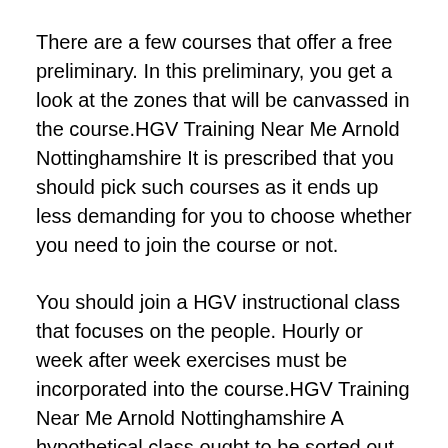There are a few courses that offer a free preliminary. In this preliminary, you get a look at the zones that will be canvassed in the course.HGV Training Near Me Arnold Nottinghamshire It is prescribed that you should pick such courses as it ends up less demanding for you to choose whether you need to join the course or not.
You should join a HGV instructional class that focuses on the people. Hourly or week after week exercises must be incorporated into the course.HGV Training Near Me Arnold Nottinghamshire A hypothetical class ought to be sorted out where distinctive elements of the HGV are educated. The course should center around the strategies for working a HGV. A down to earth venture is another zone that ought not be overlooked by any stretch of the imagination. The administrators or the mentors ought to sort out different driving sessions. You should have the capacity to rehearse enough with the